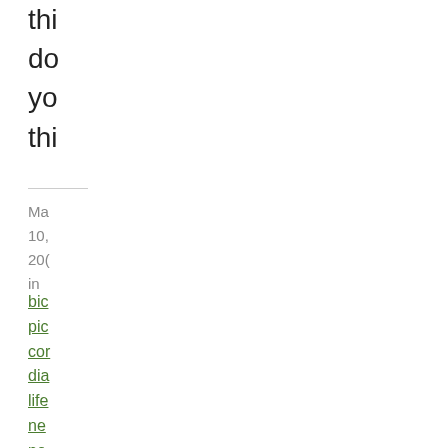thi
dor
yor
thi
Ma
10,
20(
in
bic
pic
cor
dia
life
ne
no
wh
he
|
Pe
Cor
Th
is
a
gre
pos
I'm